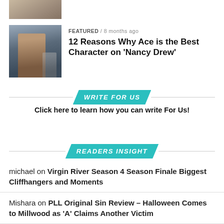[Figure (photo): Small thumbnail image at top, partial view]
[Figure (photo): Thumbnail photo of a person from the TV show Nancy Drew]
FEATURED / 8 months ago
12 Reasons Why Ace is the Best Character on ‘Nancy Drew’
WRITE FOR US
Click here to learn how you can write For Us!
READERS INSIGHT
michael on Virgin River Season 4 Season Finale Biggest Cliffhangers and Moments
Mishara on PLL Original Sin Review – Halloween Comes to Millwood as ‘A’ Claims Another Victim